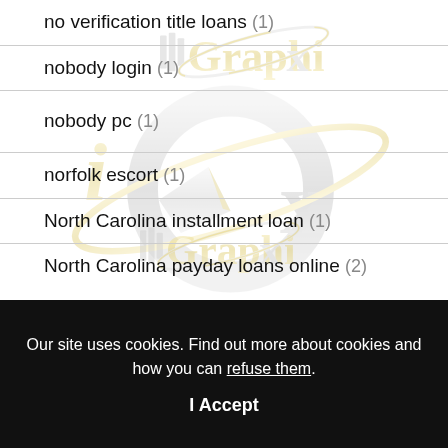no verification title loans (1)
nobody login (1)
[Figure (logo): IllGraphix gold and silver stylized logo with pen nib and orbit ring, repeated watermark overlay]
nobody pc (1)
norfolk escort (1)
North Carolina installment loan (1)
North Carolina payday loans online (2)
Our site uses cookies. Find out more about cookies and how you can refuse them.
I Accept